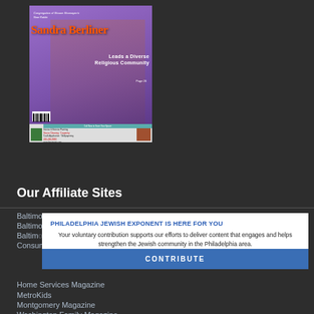[Figure (photo): Magazine cover featuring Sandra Berliner with text 'SANDRA BERLINER LEADS A DIVERSE RELIGIOUS COMMUNITY' and a cover advertisement strip at bottom]
Our Affiliate Sites
Baltimore's Child
Baltimore Jewish Home
Baltimore
Consumer's Eye Magazine
Home Services Magazine
MetroKids
Montgomery Magazine
Washington Family Magazine
PHILADELPHIA JEWISH EXPONENT IS HERE FOR YOU
Your voluntary contribution supports our efforts to deliver content that engages and helps strengthen the Jewish community in the Philadelphia area.
CONTRIBUTE